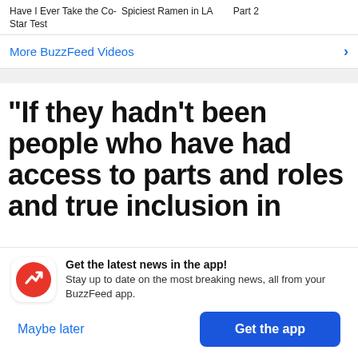Have I Ever Take the Co-Star Test   Spiciest Ramen in LA   Part 2
More BuzzFeed Videos
“If they hadn’t been people who have had access to parts and roles and true inclusion in
Get the latest news in the app! Stay up to date on the most breaking news, all from your BuzzFeed app.
Maybe later
Get the app